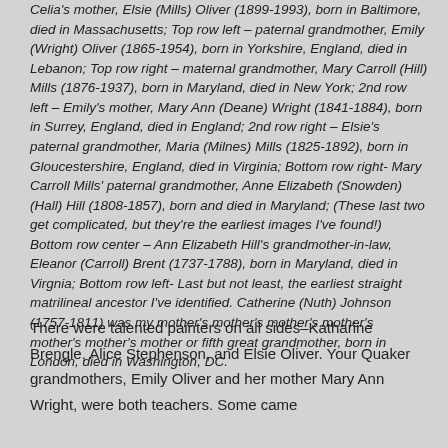Celia's mother, Elsie (Mills) Oliver (1899-1993), born in Baltimore, died in Massachusetts; Top row left – paternal grandmother, Emily (Wright) Oliver (1865-1954), born in Yorkshire, England, died in Lebanon; Top row right – maternal grandmother, Mary Carroll (Hill) Mills (1876-1937), born in Maryland, died in New York; 2nd row left – Emily's mother, Mary Ann (Deane) Wright (1841-1884), born in Surrey, England, died in England; 2nd row right – Elsie's paternal grandmother, Maria (Milnes) Mills (1825-1892), born in Gloucestershire, England, died in Virginia; Bottom row right- Mary Carroll Mills' paternal grandmother, Anne Elizabeth (Snowden) (Hall) Hill (1808-1857), born and died in Maryland; (These last two get complicated, but they're the earliest images I've found!) Bottom row center – Ann Elizabeth Hill's grandmother-in-law, Eleanor (Carroll) Brent (1737-1788), born in Maryland, died in Virgnia; Bottom row left- Last but not least, the earliest straight matrilineal ancestor I've identified. Catherine (Nuth) Johnson (1757-1811) was my mother's mother's mother's mother's mother's mother's mother or fifth great grandmother, born in London, died in Washington, DC.
There were talented painters on all sides–Katharine Brengle, Alice Stephenson, and Elsie Oliver. Your Quaker grandmothers, Emily Oliver and her mother Mary Ann Wright, were both teachers. Some came